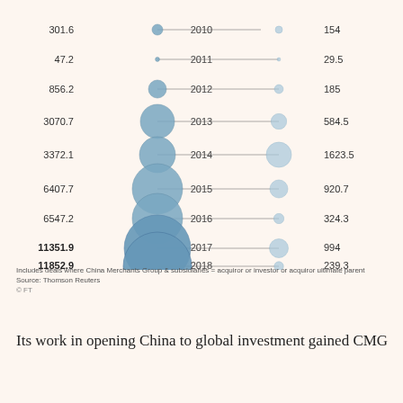[Figure (bubble-chart): China Merchants Group deals by year]
Includes deals where China Merchants Group & subsidiaries = acquiror or investor or acquiror ultimate parent
Source: Thomson Reuters
© FT
Its work in opening China to global investment gained CMG